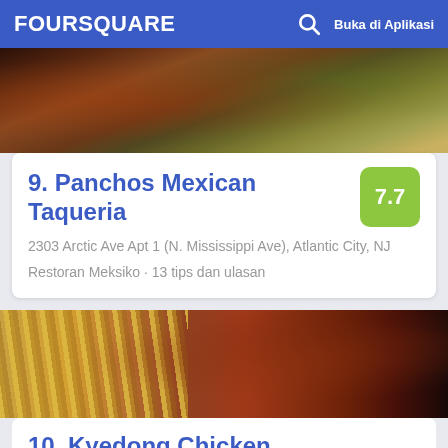FOURSQUARE  Buka di Aplikasi
[Figure (photo): Food photo showing a Mexican dish with vegetables, used as header image for Panchos Mexican Taqueria listing]
9. Panchos Mexican Taqueria
2303 Arctic Ave Apt 1 (N. Mississippi Ave), Atlantic City, NJ
Restoran Meksiko · 13 tips dan ulasan
[Figure (photo): Food photo showing fried chicken wings and french fries, used as header image for Kyedong Chicken listing]
10. Kyedong Chicken